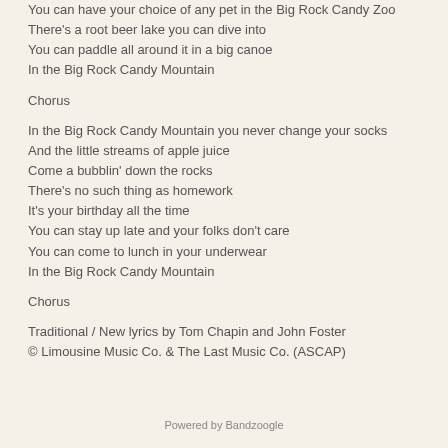You can have your choice of any pet in the Big Rock Candy Zoo
There's a root beer lake you can dive into
You can paddle all around it in a big canoe
In the Big Rock Candy Mountain
Chorus
In the Big Rock Candy Mountain you never change your socks
And the little streams of apple juice
Come a bubblin' down the rocks
There's no such thing as homework
It's your birthday all the time
You can stay up late and your folks don't care
You can come to lunch in your underwear
In the Big Rock Candy Mountain
Chorus
Traditional / New lyrics by Tom Chapin and John Foster
© Limousine Music Co. & The Last Music Co. (ASCAP)
Powered by Bandzoogle